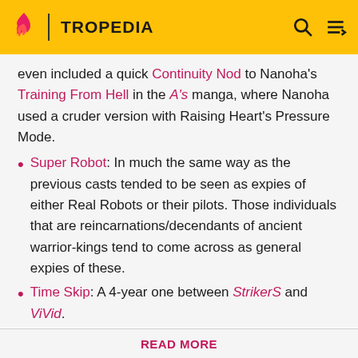TROPEDIA
even included a quick Continuity Nod to Nanoha's Training From Hell in the A's manga, where Nanoha used a cruder version with Raising Heart's Pressure Mode.
Super Robot: In much the same way as the previous casts tended to be seen as expies of either Real Robots or their pilots. Those individuals that are reincarnations/decendants of ancient warrior-kings tend to come across as general expies of these.
Time Skip: A 4-year one between StrikerS and ViVid.
Before making a single edit, Tropedia EXPECTS our site policy and manual of style to be followed. Failure to do so may
READ MORE